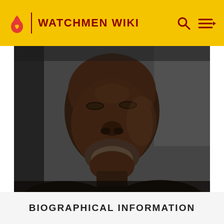WATCHMEN WIKI
[Figure (photo): Close-up photo of a Black man's face and upper shoulders in dim lighting, looking slightly upward, with a short beard, against a dark grayish background.]
BIOGRAPHICAL INFORMATION